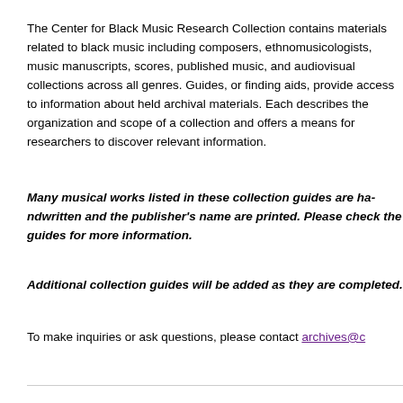The Center for Black Music Research Collection contains materials related to black music including composers, ethnomusicologists, music manuscripts, scores, published music, and audiovisual collections across all genres. Guides, or finding aids, provide access to information about held archival materials. Each describes the organization and scope of a collection and offers a means for researchers to discover relevant information.
Many musical works listed in these collection guides are handwritten and the publisher's name are printed. Please check the guides for more information.
Additional collection guides will be added as they are completed.
To make inquiries or ask questions, please contact archives@...